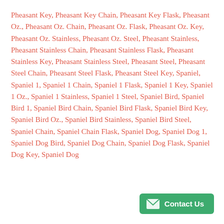Pheasant Key, Pheasant Key Chain, Pheasant Key Flask, Pheasant Oz., Pheasant Oz. Chain, Pheasant Oz. Flask, Pheasant Oz. Key, Pheasant Oz. Stainless, Pheasant Oz. Steel, Pheasant Stainless, Pheasant Stainless Chain, Pheasant Stainless Flask, Pheasant Stainless Key, Pheasant Stainless Steel, Pheasant Steel, Pheasant Steel Chain, Pheasant Steel Flask, Pheasant Steel Key, Spaniel, Spaniel 1, Spaniel 1 Chain, Spaniel 1 Flask, Spaniel 1 Key, Spaniel 1 Oz., Spaniel 1 Stainless, Spaniel 1 Steel, Spaniel Bird, Spaniel Bird 1, Spaniel Bird Chain, Spaniel Bird Flask, Spaniel Bird Key, Spaniel Bird Oz., Spaniel Bird Stainless, Spaniel Bird Steel, Spaniel Chain, Spaniel Chain Flask, Spaniel Dog, Spaniel Dog 1, Spaniel Dog Bird, Spaniel Dog Chain, Spaniel Dog Flask, Spaniel Dog Key, Spaniel Dog Pheasant, Spaniel Dog Stainless